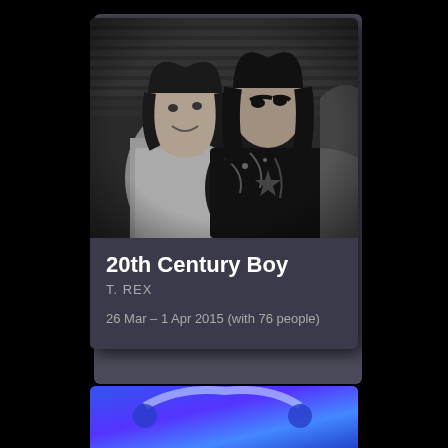[Figure (photo): Black and white photo of two people, one with long curly hair in glam rock style with dramatic eye makeup and a decorated jacket, the other in a white t-shirt. Background shows horizontal slats/blinds.]
20th Century Boy
T. REX
26 Mar – 1 Apr 2015 (with 76 people)
[Figure (photo): Partial view of a second card with blue/purple gradient background, partially visible at bottom of page.]